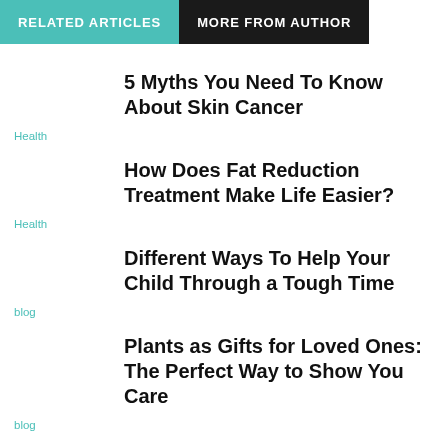RELATED ARTICLES | MORE FROM AUTHOR
5 Myths You Need To Know About Skin Cancer
Health
How Does Fat Reduction Treatment Make Life Easier?
Health
Different Ways To Help Your Child Through a Tough Time
blog
Plants as Gifts for Loved Ones: The Perfect Way to Show You Care
blog